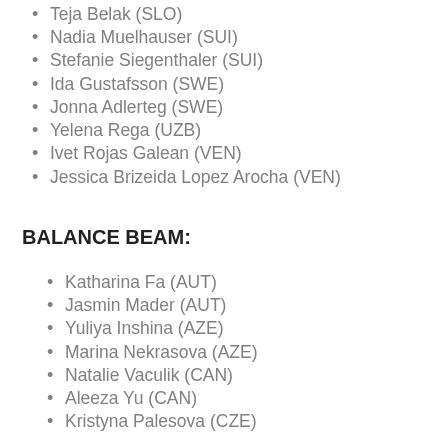Teja Belak (SLO)
Nadia Muelhauser (SUI)
Stefanie Siegenthaler (SUI)
Ida Gustafsson (SWE)
Jonna Adlerteg (SWE)
Yelena Rega (UZB)
Ivet Rojas Galean (VEN)
Jessica Brizeida Lopez Arocha (VEN)
BALANCE BEAM:
Katharina Fa (AUT)
Jasmin Mader (AUT)
Yuliya Inshina (AZE)
Marina Nekrasova (AZE)
Natalie Vaculik (CAN)
Aleeza Yu (CAN)
Kristyna Palesova (CZE)